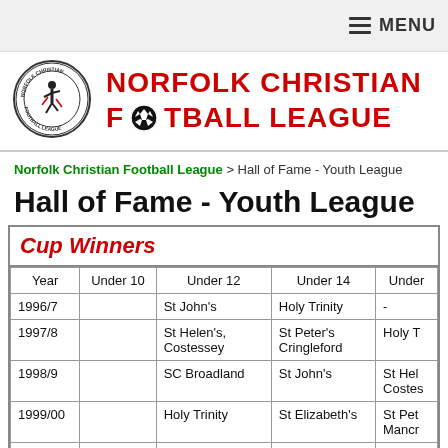MENU
[Figure (logo): Norfolk Christian Football League circular logo with footballer silhouette]
NORFOLK CHRISTIAN FOOTBALL LEAGUE
Norfolk Christian Football League > Hall of Fame - Youth League
Hall of Fame - Youth League
Cup Winners
| Year | Under 10 | Under 12 | Under 14 | Under |
| --- | --- | --- | --- | --- |
| 1996/7 |  | St John's | Holy Trinity | - |
| 1997/8 |  | St Helen's, Costessey | St Peter's Cringleford | Holy T |
| 1998/9 |  | SC Broadland | St John's | St Hel Costes |
| 1999/00 |  | Holy Trinity | St Elizabeth's | St Pet Mancr |
| 2000/01 |  | Dereham Road | St John's 'A' | Helles |